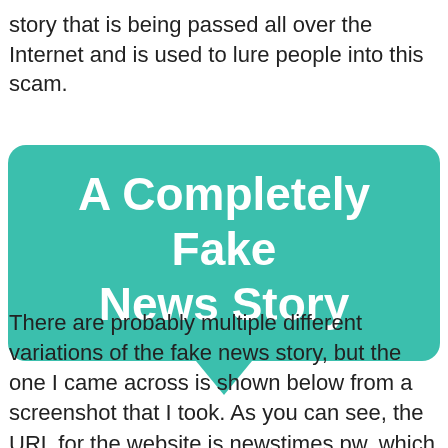story that is being passed all over the Internet and is used to lure people into this scam.
[Figure (illustration): A teal speech bubble graphic with the text 'A Completely Fake News Story' in bold white font, with a downward-pointing tail at the bottom.]
There are probably multiple different variations of the fake news story, but the one I came across is shown below from a screenshot that I took. As you can see, the URL for the website is newstimes.pw, which is obviously not any popular news website. I have also read reviews claiming that the same fake news article has been posted on other websites such as